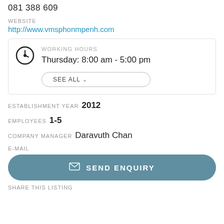081 388 609
WEBSITE
http://www.vmsphonmpenh.com
WORKING HOURS
Thursday: 8:00 am - 5:00 pm
SEE ALL
ESTABLISHMENT YEAR 2012
EMPLOYEES 1-5
COMPANY MANAGER Daravuth Chan
E-MAIL
SEND ENQUIRY
SHARE THIS LISTING